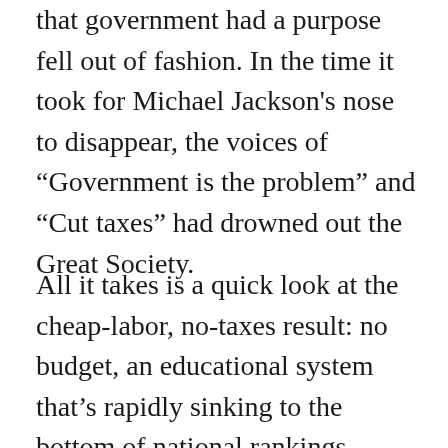that government had a purpose fell out of fashion. In the time it took for Michael Jackson's nose to disappear, the voices of “Government is the problem” and “Cut taxes” had drowned out the Great Society.
All it takes is a quick look at the cheap-labor, no-taxes result: no budget, an educational system that’s rapidly sinking to the bottom of national rankings, roads that are falling apart. Even the swimming pools are closed